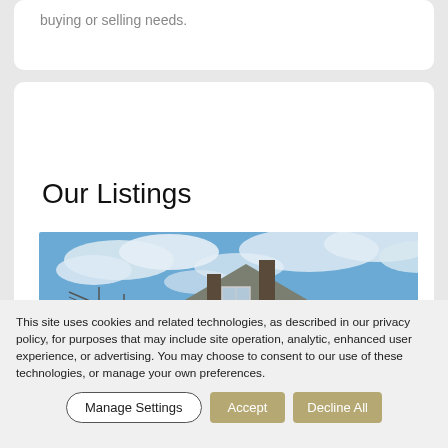buying or selling needs.
Our Listings
[Figure (photo): Exterior photo of a gray two-story house with white trim and gabled roof against a partly cloudy blue sky, with navigation arrows on left and right sides of the image carousel.]
This site uses cookies and related technologies, as described in our privacy policy, for purposes that may include site operation, analytics, enhanced user experience, or advertising. You may choose to consent to our use of these technologies, or manage your own preferences.
Manage Settings | Accept | Decline All